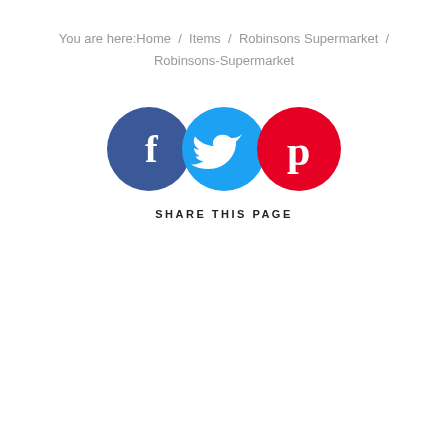You are here:Home / Items / Robinsons Supermarket / Robinsons-Supermarket
[Figure (infographic): Three social media sharing icons: Facebook (dark blue circle with white 'f' logo), Twitter (cyan circle with white bird logo), Pinterest (red circle with white 'p' logo), followed by the text 'SHARE THIS PAGE']